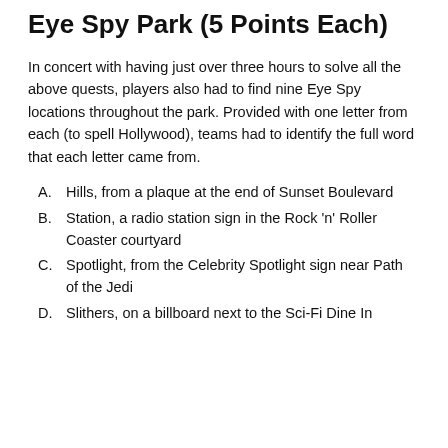Eye Spy Park (5 Points Each)
In concert with having just over three hours to solve all the above quests, players also had to find nine Eye Spy locations throughout the park. Provided with one letter from each (to spell Hollywood), teams had to identify the full word that each letter came from.
A. Hills, from a plaque at the end of Sunset Boulevard
B. Station, a radio station sign in the Rock 'n' Roller Coaster courtyard
C. Spotlight, from the Celebrity Spotlight sign near Path of the Jedi
D. Slithers, on a billboard next to the Sci-Fi Dine In